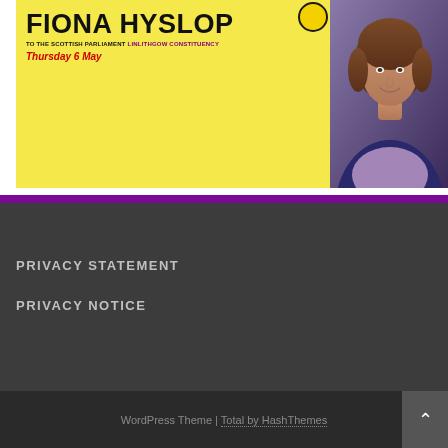[Figure (photo): Election campaign leaflet/poster for Fiona Hyslop to the Scottish Parliament, Linlithgow Constituency, Thursday 6 May. Yellow background with candidate name in bold black text, red date text, and a photo of the candidate on the right side.]
PRIVACY STATEMENT
PRIVACY NOTICE
WordPress Theme | Total by HashThemes